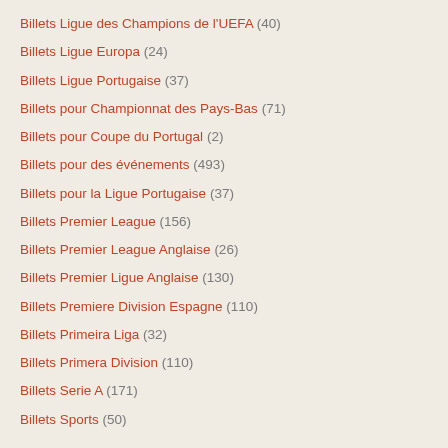Billets Ligue des Champions de l'UEFA (40)
Billets Ligue Europa (24)
Billets Ligue Portugaise (37)
Billets pour Championnat des Pays-Bas (71)
Billets pour Coupe du Portugal (2)
Billets pour des événements (493)
Billets pour la Ligue Portugaise (37)
Billets Premier League (156)
Billets Premier League Anglaise (26)
Billets Premier Ligue Anglaise (130)
Billets Premiere Division Espagne (110)
Billets Primeira Liga (32)
Billets Primera Division (110)
Billets Serie A (171)
Billets Sports (50)